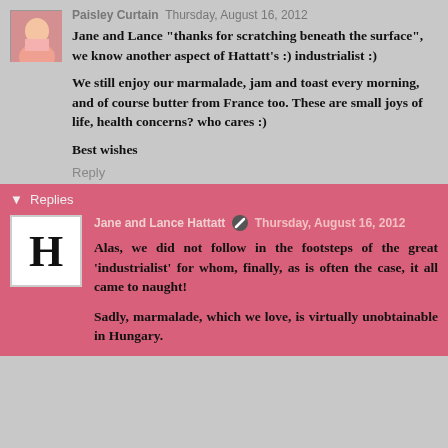Paisley Curtain  Thursday, August 16, 2012
Jane and Lance "thanks for scratching beneath the surface", we know another aspect of Hattatt's :) industrialist :)
We still enjoy our marmalade, jam and toast every morning, and of course butter from France too. These are small joys of life, health concerns? who cares :)
Best wishes
Reply
▼ Replies
Jane and Lance Hattatt  Thursday, August 16, 2012
Alas, we did not follow in the footsteps of the great 'industrialist' for whom, finally, as is often the case, it all came to naught!
Sadly, marmalade, which we love, is virtually unobtainable in Hungary.